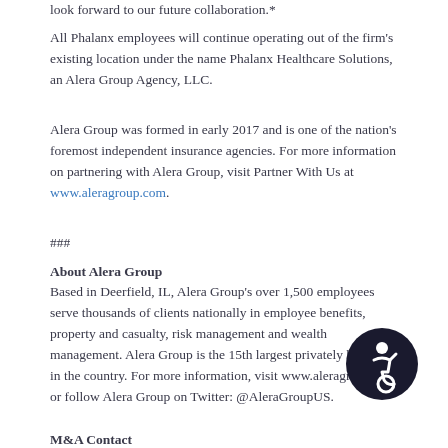look forward to our future collaboration.*
All Phalanx employees will continue operating out of the firm's existing location under the name Phalanx Healthcare Solutions, an Alera Group Agency, LLC.
Alera Group was formed in early 2017 and is one of the nation's foremost independent insurance agencies. For more information on partnering with Alera Group, visit Partner With Us at www.aleragroup.com.
###
About Alera Group
Based in Deerfield, IL, Alera Group's over 1,500 employees serve thousands of clients nationally in employee benefits, property and casualty, risk management and wealth management. Alera Group is the 15th largest privately held firm in the country. For more information, visit www.aleragroup.com or follow Alera Group on Twitter: @AleraGroupUS.
M&A Contact
Rob Lieblein, Chief Development Officer